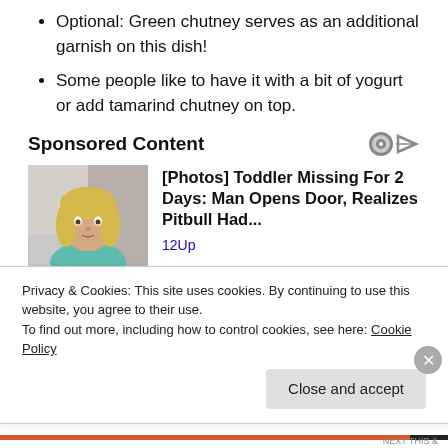Optional: Green chutney serves as an additional garnish on this dish!
Some people like to have it with a bit of yogurt or add tamarind chutney on top.
Sponsored Content
[Figure (photo): Photo of a toddler girl with blonde hair wearing a teal shirt]
[Photos] Toddler Missing For 2 Days: Man Opens Door, Realizes Pitbull Had...
12Up
Privacy & Cookies: This site uses cookies. By continuing to use this website, you agree to their use.
To find out more, including how to control cookies, see here: Cookie Policy
Close and accept